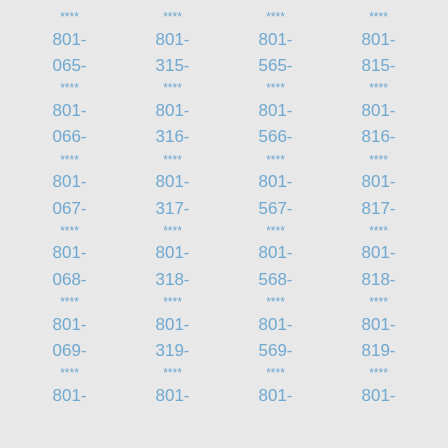Columns of phone number fragments: ****
801-
065-
****
801-
066-
****
801-
067-
****
801-
068-
****
801-
069-
****
801-

****
801-
315-
****
801-
316-
****
801-
317-
****
801-
318-
****
801-
319-
****
801-

****
801-
565-
****
801-
566-
****
801-
567-
****
801-
568-
****
801-
569-
****
801-

****
801-
815-
****
801-
816-
****
801-
817-
****
801-
818-
****
801-
819-
****
801-